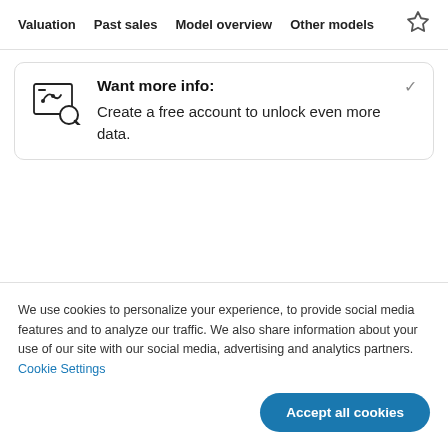Valuation  Past sales  Model overview  Other models
Want more info:
Create a free account to unlock even more data.
We use cookies to personalize your experience, to provide social media features and to analyze our traffic. We also share information about your use of our site with our social media, advertising and analytics partners. Cookie Settings
Accept all cookies